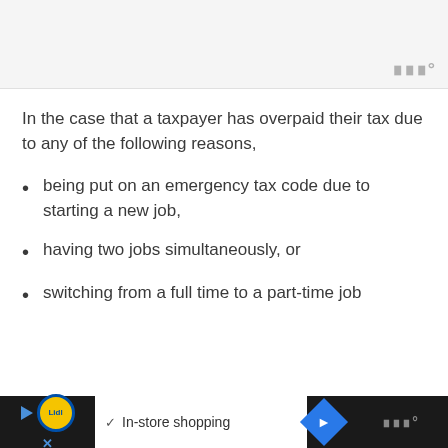In the case that a taxpayer has overpaid their tax due to any of the following reasons,
being put on an emergency tax code due to starting a new job,
having two jobs simultaneously, or
switching from a full time to a part-time job